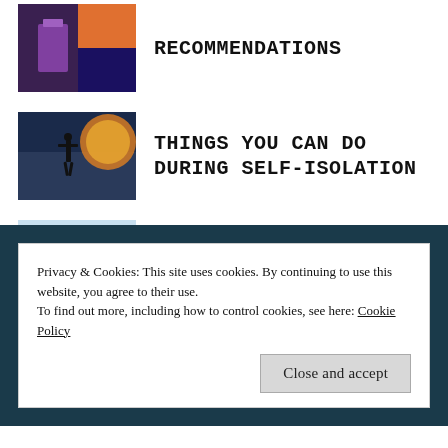RECOMMENDATIONS
THINGS YOU CAN DO DURING SELF-ISOLATION
ABOUT CLIMBING WITH INTEGRITY
HOW TO RIDE YOUR FIRST PNW VOLCANO
Privacy & Cookies: This site uses cookies. By continuing to use this website, you agree to their use.
To find out more, including how to control cookies, see here: Cookie Policy
Close and accept